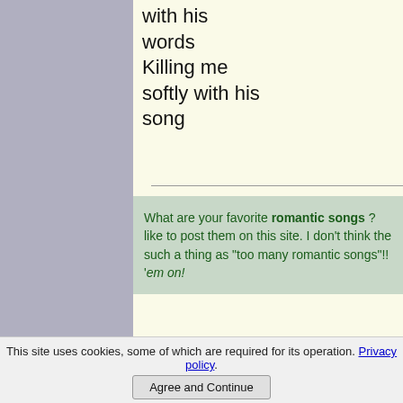with his words
Killing me softly with his song
What are your favorite romantic songs ? like to post them on this site. I don't think there such a thing as "too many romantic songs"!! 'em on!
A B C D E F G H I J K L M N O P Q T U V W X Y Z
Return from Romantic Songs to Romantic Ideas Online Home Page
Return to Romantic Love Songs Main Page
This site uses cookies, some of which are required for its operation. Privacy policy. Agree and Continue